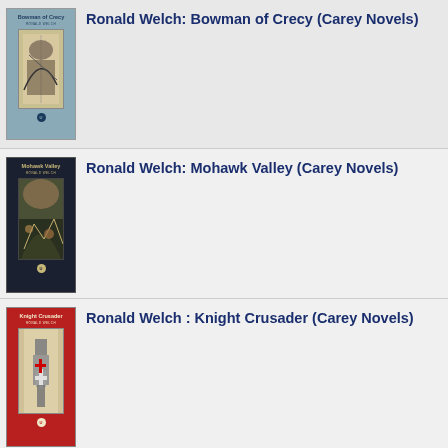[Figure (photo): Book cover of Bowman of Crecy by Ronald Welch, light blue cover with illustration of medieval archers]
Ronald Welch: Bowman of Crecy (Carey Novels)
[Figure (photo): Book cover of Mohawk Valley by Ronald Welch, dark navy cover with battle scene illustration]
Ronald Welch: Mohawk Valley (Carey Novels)
[Figure (photo): Book cover of Knight Crusader by Ronald Welch, red cover with illustration of knight with cross shield]
Ronald Welch : Knight Crusader (Carey Novels)